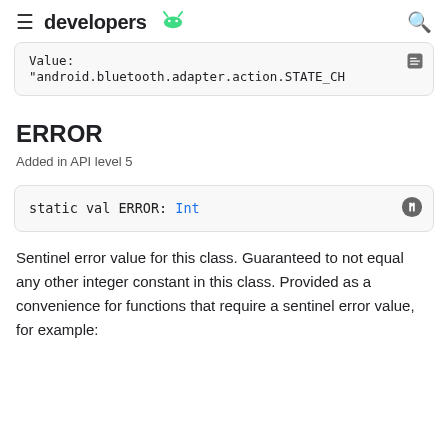developers
Value: "android.bluetooth.adapter.action.STATE_CH
ERROR
Added in API level 5
static val ERROR: Int
Sentinel error value for this class. Guaranteed to not equal any other integer constant in this class. Provided as a convenience for functions that require a sentinel error value, for example: